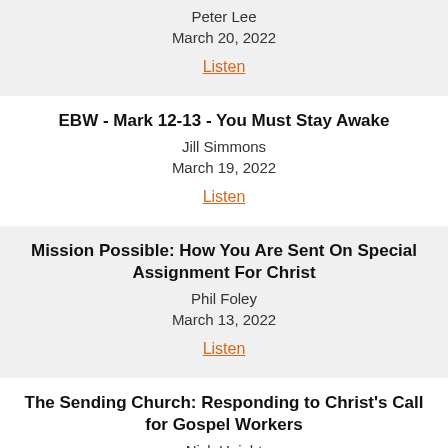Peter Lee
March 20, 2022
Listen
EBW - Mark 12-13 - You Must Stay Awake
Jill Simmons
March 19, 2022
Listen
Mission Possible: How You Are Sent On Special Assignment For Christ
Phil Foley
March 13, 2022
Listen
The Sending Church: Responding to Christ's Call for Gospel Workers
Nick Haight
March 13, 2022
Listen
Is The Gospel Driving Your Life?